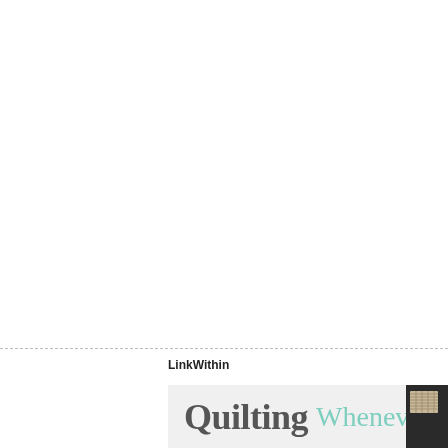LinkWithin
[Figure (illustration): Banner advertisement showing the text 'Quilting Whenever,' in a two-tone font style (dark gray for 'Quilting', teal/mint for 'Whenever,') on a light gray background, with a partial image of a book or quilt in the bottom-right corner.]